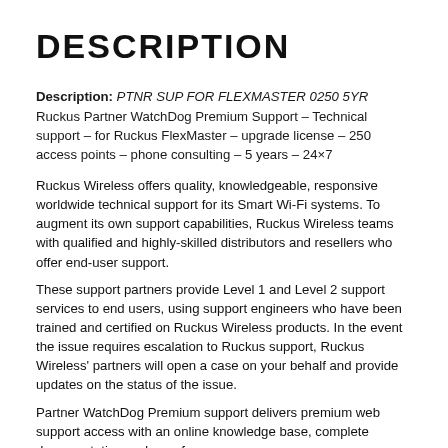DESCRIPTION
Description: PTNR SUP FOR FLEXMASTER 0250 5YR
Ruckus Partner WatchDog Premium Support – Technical support – for Ruckus FlexMaster – upgrade license – 250 access points – phone consulting – 5 years – 24×7
Ruckus Wireless offers quality, knowledgeable, responsive worldwide technical support for its Smart Wi-Fi systems. To augment its own support capabilities, Ruckus Wireless teams with qualified and highly-skilled distributors and resellers who offer end-user support.
These support partners provide Level 1 and Level 2 support services to end users, using support engineers who have been trained and certified on Ruckus Wireless products. In the event the issue requires escalation to Ruckus support, Ruckus Wireless' partners will open a case on your behalf and provide updates on the status of the issue.
Partner WatchDog Premium support delivers premium web support access with an online knowledge base, complete documentation and user forums.
Partner WatchDog Premium support comes with a...